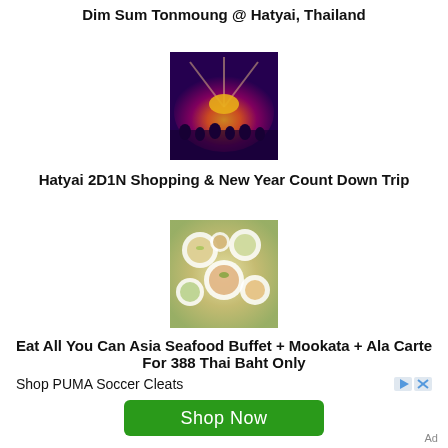Dim Sum Tonmoung @ Hatyai, Thailand
[Figure (photo): Concert or event venue photo with bright orange stage lights and crowd]
Hatyai 2D1N Shopping & New Year Count Down Trip
[Figure (photo): Overhead view of seafood dishes and food spread on a table]
Eat All You Can Asia Seafood Buffet + Mookata + Ala Carte For 388 Thai Baht Only
Shop PUMA Soccer Cleats
Shop Now
Ad